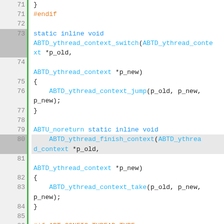[Figure (screenshot): Source code viewer showing C code lines 71-92, with line numbers on the left, a green vertical gutter bar, and syntax-highlighted code. Keywords in blue, function names in cyan/blue, preprocessor directives in orange.]